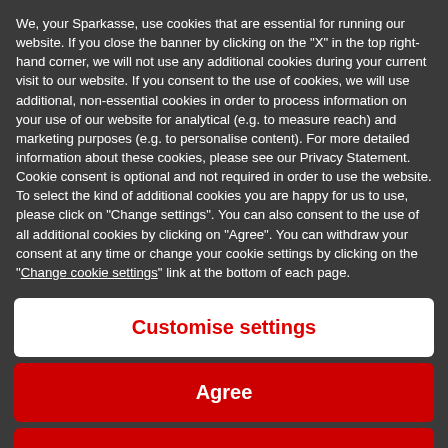We, your Sparkasse, use cookies that are essential for running our website. If you close the banner by clicking on the "X" in the top right-hand corner, we will not use any additional cookies during your current visit to our website. If you consent to the use of cookies, we will use additional, non-essential cookies in order to process information on your use of our website for analytical (e.g. to measure reach) and marketing purposes (e.g. to personalise content). For more detailed information about these cookies, please see our Privacy Statement. Cookie consent is optional and not required in order to use the website. To select the kind of additional cookies you are happy for us to use, please click on "Change settings". You can also consent to the use of all additional cookies by clicking on "Agree". You can withdraw your consent at any time or change your cookie settings by clicking on the "Change cookie settings" link at the bottom of each page.
Customise settings
Agree
Ablehnen
your Sparkasse.